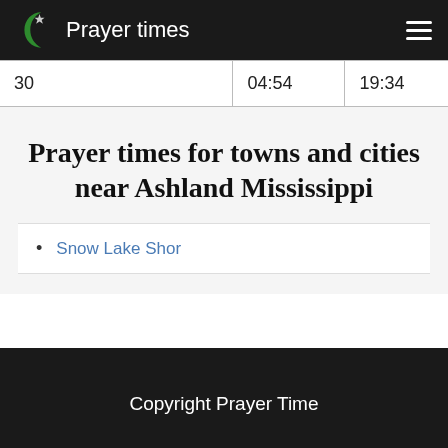Prayer times
| 30 | 04:54 | 19:34 |
Prayer times for towns and cities near Ashland Mississippi
Snow Lake Shor
Copyright Prayer Time